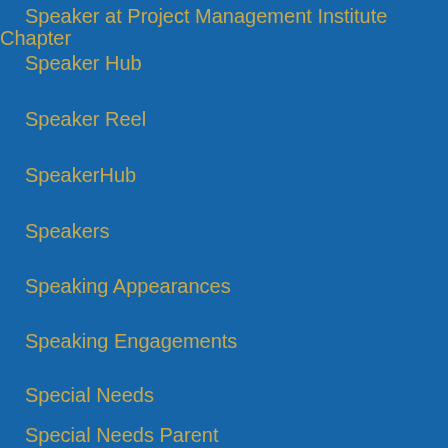Speaker at Project Management Institute Chapter
Speaker Hub
Speaker Reel
SpeakerHub
Speakers
Speaking Appearances
Speaking Engagements
Special Needs
Special Needs Parent
Spotify